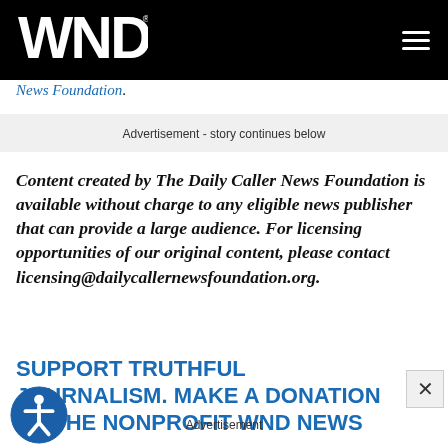WND
News Foundation.
Advertisement - story continues below
Content created by The Daily Caller News Foundation is available without charge to any eligible news publisher that can provide a large audience. For licensing opportunities of our original content, please contact licensing@dailycallernewsfoundation.org.
SUPPORT TRUTHFUL JOURNALISM. MAKE A DONATION TO THE NONPROFIT WND NEWS
Advertisement